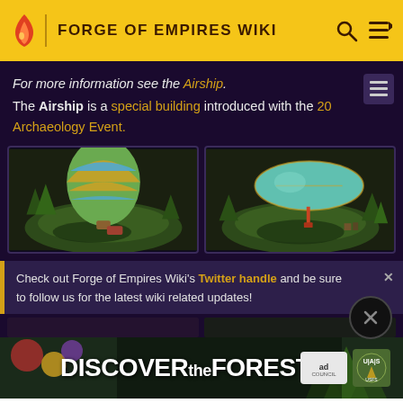FORGE OF EMPIRES WIKI
For more information see the Airship.
The Airship is a special building introduced with the 2023 Archaeology Event.
[Figure (photo): Two game screenshots side by side showing the Airship building in-game: left shows a hot air balloon on a grassy plot, right shows a blimp/dirigible airship on a grassy plot.]
Check out Forge of Empires Wiki's Twitter handle and be sure to follow us for the latest wiki related updates!
[Figure (photo): Advertisement banner for DISCOVERtheFOREST.org with ad council and US Forest Service logos.]